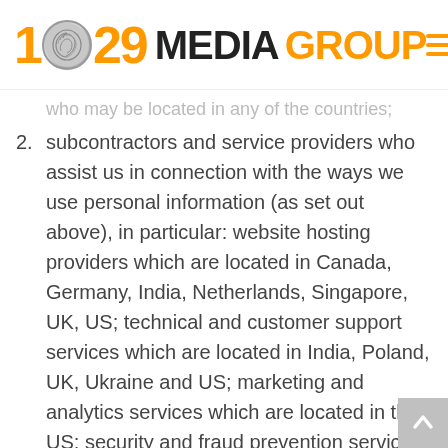1 [fingerprint] 29 MEDIA GROUP
…who may be located in any of the countries;
subcontractors and service providers who assist us in connection with the ways we use personal information (as set out above), in particular: website hosting providers which are located in Canada, Germany, India, Netherlands, Singapore, UK, US; technical and customer support services which are located in India, Poland, UK, Ukraine and US; marketing and analytics services which are located in the US; security and fraud prevention services which are located in the US; subscription management services which are located in the US; and operational tooling services which are located in the US. Noting that our